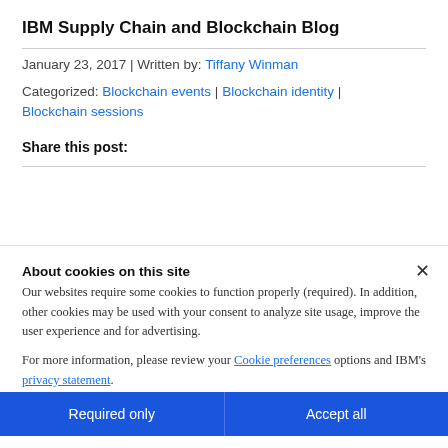IBM Supply Chain and Blockchain Blog
January 23, 2017 | Written by: Tiffany Winman
Categorized: Blockchain events | Blockchain identity | Blockchain sessions
Share this post:
About cookies on this site
Our websites require some cookies to function properly (required). In addition, other cookies may be used with your consent to analyze site usage, improve the user experience and for advertising.
For more information, please review your Cookie preferences options and IBM's privacy statement.